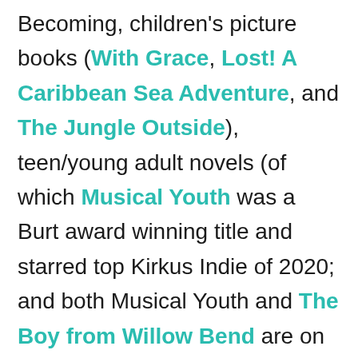Becoming, children's picture books (With Grace, Lost! A Caribbean Sea Adventure, and The Jungle Outside), teen/young adult novels (of which Musical Youth was a Burt award winning title and starred top Kirkus Indie of 2020; and both Musical Youth and The Boy from Willow Bend are on Caribbean schools reading lists), and adult contemporary novels (Dancing Nude in the Moonlight, Oh Gad!).